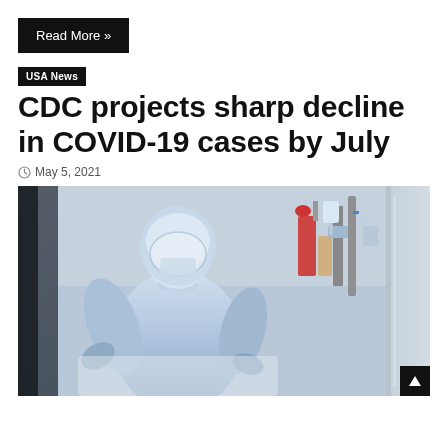Read More »
USA News
CDC projects sharp decline in COVID-19 cases by July
May 5, 2021
[Figure (photo): Healthcare worker in full PPE (blue protective suit, face shield, gloves) attending to a patient, viewed through a glass partition with medical equipment visible in the background]